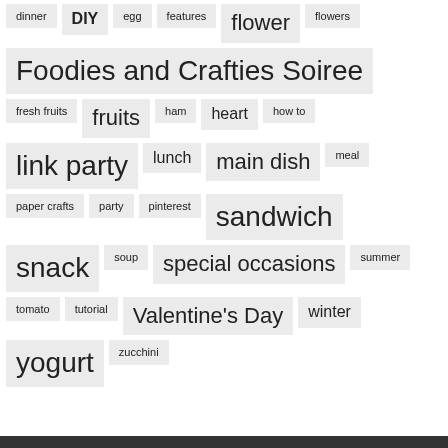dinner
DIY
egg
features
flower
flowers
Foodies and Crafties Soiree
fresh fruits
fruits
ham
heart
how to
link party
lunch
main dish
meal
paper crafts
party
pinterest
sandwich
snack
soup
special occasions
summer
tomato
tutorial
Valentine's Day
winter
yogurt
zucchini